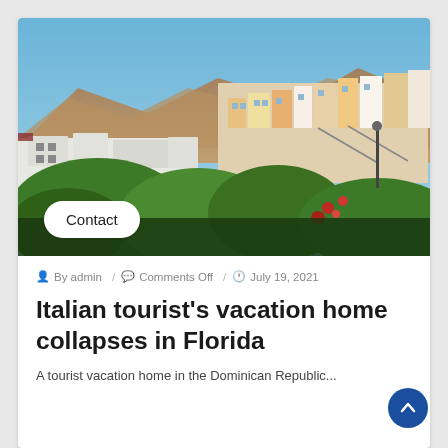[Figure (photo): Aerial view of a hillside Mediterranean-style town with colorful buildings, white rooftops, mountains in background, green vegetation and red flowers in foreground, blue sky. A 'Contact' button overlay is visible at lower left of the image.]
By admin / Comments Off / July 19, 2021
Italian tourist's vacation home collapses in Florida
A tourist vacation home in the Dominican Republic...